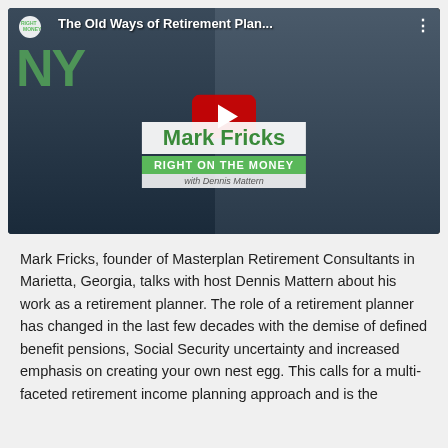[Figure (screenshot): YouTube video thumbnail showing two men (Mark Fricks and Dennis Mattern) with title 'The Old Ways of Retirement Plan...' and a red YouTube play button. Banner reads 'Mark Fricks RIGHT ON THE MONEY with Dennis Mattern'.]
Mark Fricks, founder of Masterplan Retirement Consultants in Marietta, Georgia, talks with host Dennis Mattern about his work as a retirement planner. The role of a retirement planner has changed in the last few decades with the demise of defined benefit pensions, Social Security uncertainty and increased emphasis on creating your own nest egg. This calls for a multi-faceted retirement income planning approach and is the